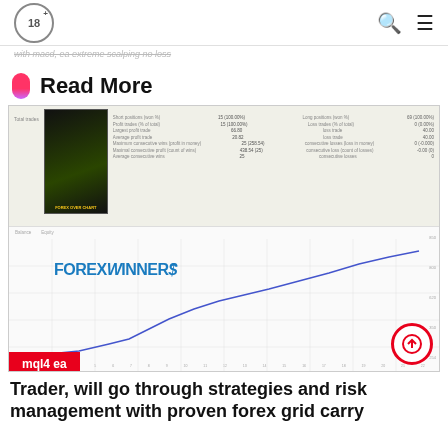18+ [search] [menu]
with macd, ea extreme scalping no loss
Read More
[Figure (screenshot): Forex trading statistics table with product image and equity line chart showing upward trend, with FOREXWINNERS watermark and mql4 ea tag]
Trader, will go through strategies and risk management with proven forex grid carry